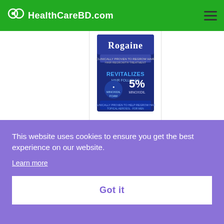HealthCareBD.com
[Figure (photo): Rogaine Men's 5% Minoxidil Foam product box with blue packaging]
Men's Rogaine 5% Minoxidil Foam for Hair
This website uses cookies to ensure you get the best experience on our website. Learn more
Got it